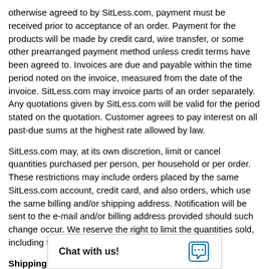otherwise agreed to by SitLess.com, payment must be received prior to acceptance of an order. Payment for the products will be made by credit card, wire transfer, or some other prearranged payment method unless credit terms have been agreed to. Invoices are due and payable within the time period noted on the invoice, measured from the date of the invoice. SitLess.com may invoice parts of an order separately. Any quotations given by SitLess.com will be valid for the period stated on the quotation. Customer agrees to pay interest on all past-due sums at the highest rate allowed by law.
SitLess.com may, at its own discretion, limit or cancel quantities purchased per person, per household or per order. These restrictions may include orders placed by the same SitLess.com account, credit card, and also orders, which use the same billing and/or shipping address. Notification will be sent to the e-mail and/or billing address provided should such change occur. We reserve the right to limit the quantities sold, including the right to limit or prohibit sales to dealers.
Shipping Charges/Taxes/Delivery:
Separate charges for shipping and handling will be shown on SitLess.com invoice(s). You are responsible for all applicable sales and other taxes associated with the order. If applicable, a separate charge for taxes will be shown on the SitLess.com invoice(s). We are not responsible for delays in deli...